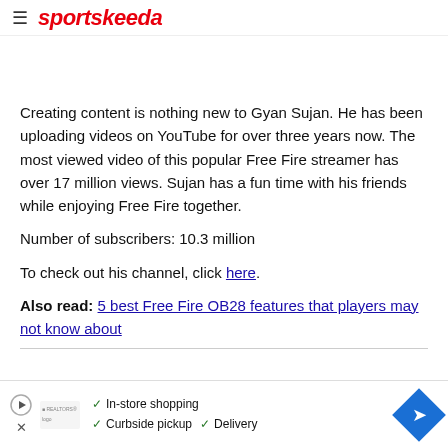sportskeeda
Creating content is nothing new to Gyan Sujan. He has been uploading videos on YouTube for over three years now. The most viewed video of this popular Free Fire streamer has over 17 million views. Sujan has a fun time with his friends while enjoying Free Fire together.
Number of subscribers: 10.3 million
To check out his channel, click here.
Also read: 5 best Free Fire OB28 features that players may not know about
[Figure (infographic): Advertisement banner with play button icon, real estate logo, checkmarks for In-store shopping, Curbside pickup, Delivery, and a blue navigation diamond arrow icon]